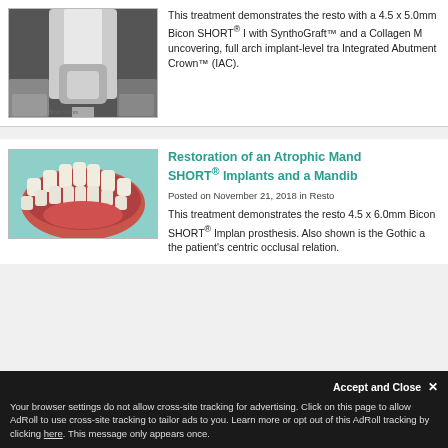[Figure (photo): Dental X-ray showing tooth/implant in grayscale]
This treatment demonstrates the resto with a 4.5 x 5.0mm Bicon SHORT® I with SynthoGraft™ and a Collagen M uncovering, full arch implant-level tra Integrated Abutment Crown™ (IAC).
[Figure (photo): Clinical photo of mandibular arch with dental implants and prosthesis, viewed from above, showing teeth on teal background]
Restoration of an Atrophic Mand SHORT® Implants and a Mandib
Posted on November 21, 2018 in Resto
This treatment demonstrates the resto 4.5 x 6.0mm Bicon SHORT® Implan prosthesis. Also shown is the Gothic a the patient's centric occlusal relation.
Accept and Close ✕
Your browser settings do not allow cross-site tracking for advertising. Click on this page to allow AdRoll to use cross-site tracking to tailor ads to you. Learn more or opt out of this AdRoll tracking by clicking here. This message only appears once.